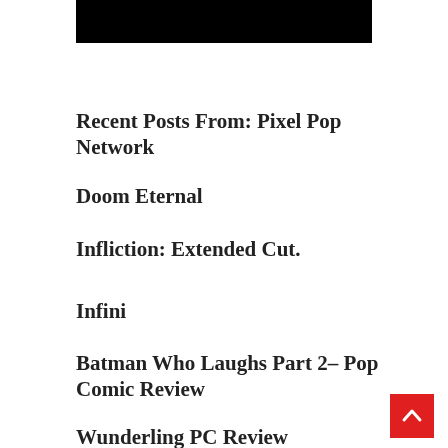[Figure (photo): Black rectangular image banner at the top of the page]
Recent Posts From: Pixel Pop Network
Doom Eternal
Infliction: Extended Cut.
Infini
Batman Who Laughs Part 2– Pop Comic Review
Wunderling PC Review